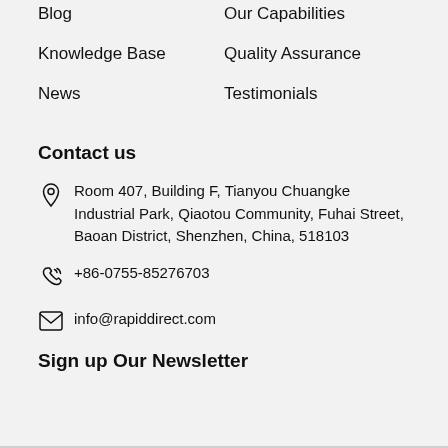Blog
Our Capabilities
Knowledge Base
Quality Assurance
News
Testimonials
Contact us
Room 407, Building F, Tianyou Chuangke Industrial Park, Qiaotou Community, Fuhai Street, Baoan District, Shenzhen, China, 518103
+86-0755-85276703
info@rapiddirect.com
Sign up Our Newsletter